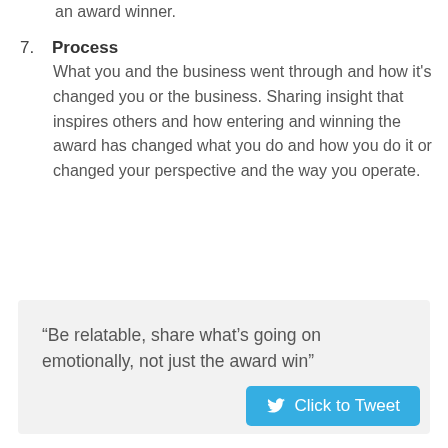an award winner.
7. Process — What you and the business went through and how it's changed you or the business. Sharing insight that inspires others and how entering and winning the award has changed what you do and how you do it or changed your perspective and the way you operate.
“Be relatable, share what’s going on emotionally, not just the award win”
[Figure (other): Click to Tweet button with Twitter bird icon on a blue background]